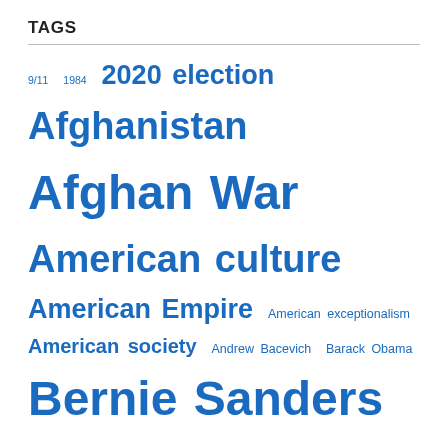TAGS
9/11 1984 2020 election Afghanistan Afghan War American culture American Empire American exceptionalism American society Andrew Bacevich Barack Obama Bernie Sanders Biden Biden administration bombing capitalism China citizen-soldier climate change Cold War Congress Covid-19 defense budget defense spending democracy Democratic Party Democrats department of defense DNC Donald Trump drones Dwight Eisenhower education Eisenhower Empire F-35 fear foreign policy forever war George W. Bush global warming guns health care Hillary Clinton History Ike imperialism Iran Iraq Iraq War ISIS James Madison Joe Biden Kamala Harris lies mainstream media militarism military Military-